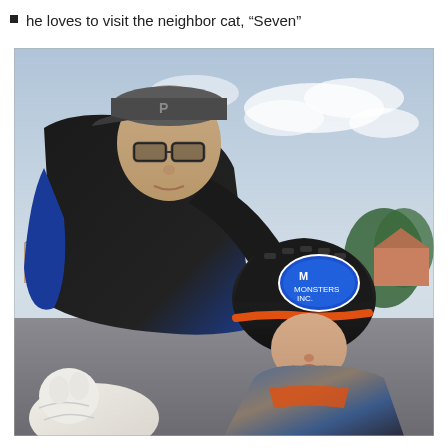he loves to visit the neighbor cat, “Seven”
[Figure (photo): An adult man wearing a baseball cap and glasses bends down toward a young child who is wearing a black bicycle helmet with a blue sticker on it. The child is wearing a colorful jacket with orange, blue, and gray colors. The man is wearing a black and blue jacket. There appears to be a white fluffy animal (possibly a cat) in the lower left foreground. The background shows a suburban neighborhood with trees and cloudy sky.]